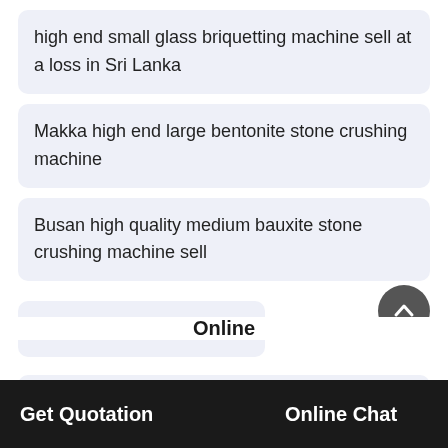high end small glass briquetting machine sell at a loss in Sri Lanka
Makka high end large bentonite stone crushing machine
Busan high quality medium bauxite stone crushing machine sell
stone crushing machine 13
China Supplier High Efficiency Spiral Classifier
Get Quotation   Online   Online Chat